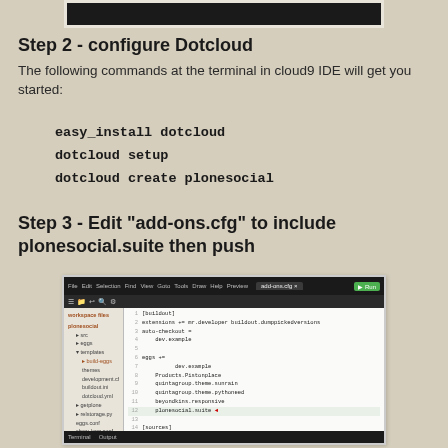[Figure (screenshot): Dark toolbar/IDE screenshot at the top of the page (partial, cropped)]
Step 2 - configure Dotcloud
The following commands at the terminal in cloud9 IDE will get you started:
easy_install dotcloud
dotcloud setup
dotcloud create plonesocial
Step 3 - Edit "add-ons.cfg" to include plonesocial.suite then push
[Figure (screenshot): Screenshot of Cloud9 IDE showing add-ons.cfg file being edited with plonesocial.suite highlighted with a red arrow]